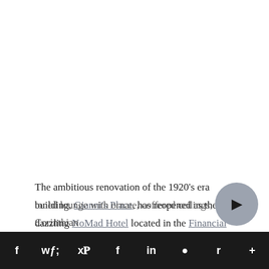The ambitious renovation of the 1920's era building, Gianni's Place, has reopened as the dazzling NoMad Hotel located in the Financial District, and it's been bustling since its launch in January. I for one can't get enough of this spectacular gem. I could sit in awe of the sumptuous interiors featuring a jewel toned lounge with ornate, coffered ceilings, Corinthian
f  t  p  f  in  r  +